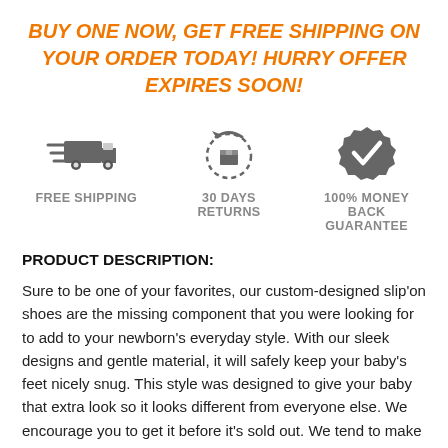BUY ONE NOW, GET FREE SHIPPING ON YOUR ORDER TODAY! HURRY OFFER EXPIRES SOON!
[Figure (infographic): Three icons: a delivery truck with speed lines labeled FREE SHIPPING, a return/refresh box icon labeled 30 DAYS RETURNS, and a badge with checkmark labeled 100% MONEY BACK GUARANTEE]
PRODUCT DESCRIPTION:
Sure to be one of your favorites, our custom-designed slip'on shoes are the missing component that you were looking for to add to your newborn's everyday style. With our sleek designs and gentle material, it will safely keep your baby's feet nicely snug. This style was designed to give your baby that extra look so it looks different from everyone else. We encourage you to get it before it's sold out. We tend to make